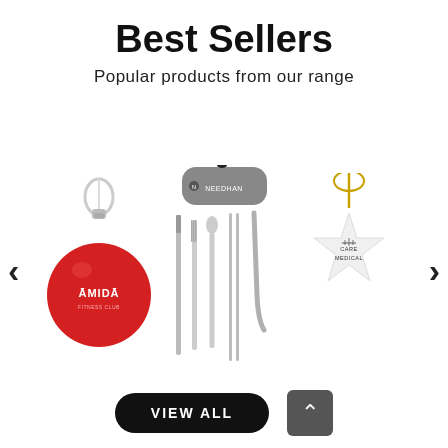Best Sellers
Popular products from our range
[Figure (photo): Three promotional product photos in a carousel: (1) a red round keychain with white ring and AMIDA branding, (2) a grey travel cutlery set case with NEEDHAN branding unfolded showing knife, fork, spoon, chopsticks and straw, (3) a white ceramic star ornament with gold ribbon and Care Medical branding. Left and right navigation arrows flank the product images.]
VIEW ALL
↑